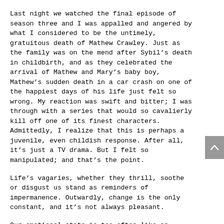Last night we watched the final episode of season three and I was appalled and angered by what I considered to be the untimely, gratuitous death of Mathew Crawley. Just as the family was on the mend after Sybil's death in childbirth, and as they celebrated the arrival of Mathew and Mary's baby boy, Mathew's sudden death in a car crash on one of the happiest days of his life just felt so wrong. My reaction was swift and bitter; I was through with a series that would so cavalierly kill off one of its finest characters. Admittedly, I realize that this is perhaps a juvenile, even childish response. After all, it's just a TV drama. But I felt so manipulated; and that's the point.
Life's vagaries, whether they thrill, soothe or disgust us stand as reminders of impermanence. Outwardly, change is the only constant, and it's not always pleasant.
Our emotional state is too often like an unconscious knee jerk elicited by the sharp strike of life's random mallet. Suddenly we can be caught, whirling in an emotional spin cycle that plops us flat on our faces dizzy from some surprising twist of fate. At other times slow, relentless pressure can exhaust us until we're seemingly out of options.